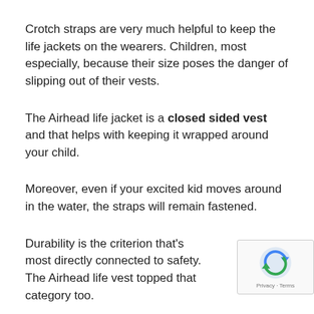Crotch straps are very much helpful to keep the life jackets on the wearers. Children, most especially, because their size poses the danger of slipping out of their vests.
The Airhead life jacket is a closed sided vest and that helps with keeping it wrapped around your child.
Moreover, even if your excited kid moves around in the water, the straps will remain fastened.
Durability is the criterion that’s most directly connected to safety. The Airhead life vest topped that category too.